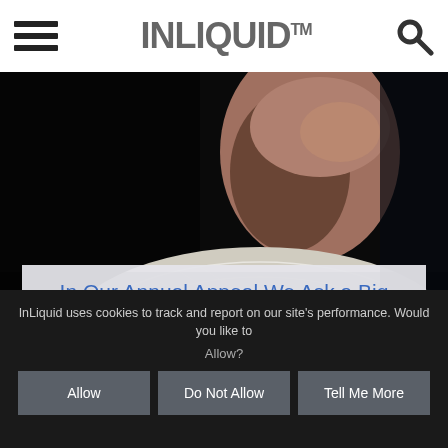INLIQUID™
[Figure (photo): Close-up dark photograph of a person's neck and chin, with an intricate white patterned fabric or collar wrapping around the shoulders. The background is black.]
In Our Annual Appeal We Ask a Big Question: Why is Art Important, Especially Now?
By: Elizabeth Roan From InLiquid, Reviews
InLiquid uses cookies to track and report on our site's performance. Would you like to Allow?
Allow
Do Not Allow
Tell Me More